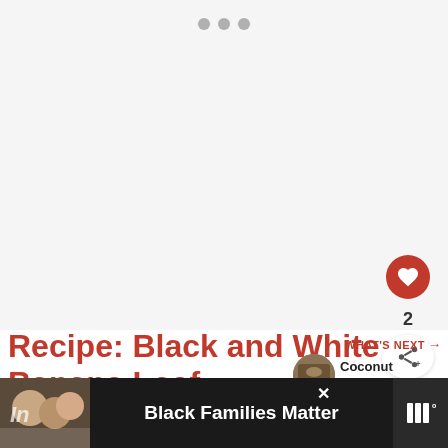[Figure (photo): Large blank/loading image area with carousel dots at top, showing a recipe photo placeholder]
Recipe:  Black and White Banana Loaf
[Figure (photo): What's Next thumbnail - Coconut Banana Bread]
WHAT'S NEXT → Coconut Banana Bread
[Figure (photo): Advertisement banner: Black Families Matter with family photo and logo]